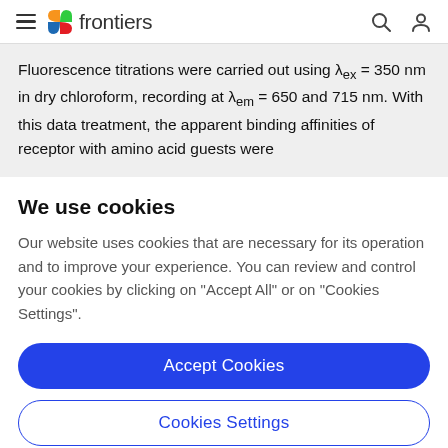frontiers
Fluorescence titrations were carried out using λex = 350 nm in dry chloroform, recording at λem = 650 and 715 nm. With this data treatment, the apparent binding affinities of receptor with amino acid guests were
We use cookies
Our website uses cookies that are necessary for its operation and to improve your experience. You can review and control your cookies by clicking on "Accept All" or on "Cookies Settings".
Accept Cookies
Cookies Settings